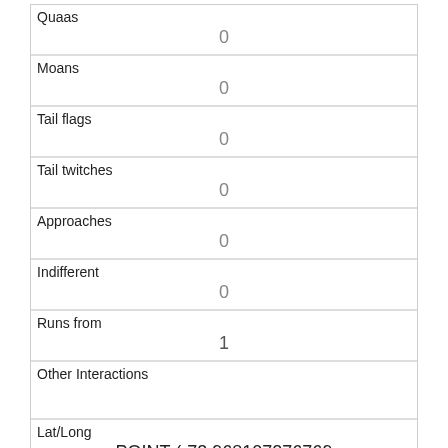| Quaas | 0 |
| Moans | 0 |
| Tail flags | 0 |
| Tail twitches | 0 |
| Approaches | 0 |
| Indifferent | 0 |
| Runs from | 1 |
| Other Interactions |  |
| Lat/Long | POINT (-73.968107276769 40.7768612676036) |
| Link |  |